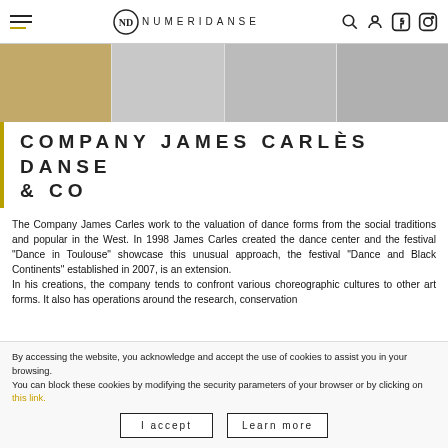NUMERIDANSE
[Figure (photo): Three image panels side by side showing dance-related photography]
COMPANY JAMES CARLÈS DANSE & CO
The Company James Carles work to the valuation of dance forms from the social traditions and popular in the West. In 1998 James Carles created the dance center and the festival “Dance in Toulouse” showcase this unusual approach, the festival “Dance and Black Continents” established in 2007, is an extension.
In his creations, the company tends to confront various choreographic cultures to other art forms. It also has operations around the research, conservation
By accessing the website, you acknowledge and accept the use of cookies to assist you in your browsing.
You can block these cookies by modifying the security parameters of your browser or by clicking on this link.